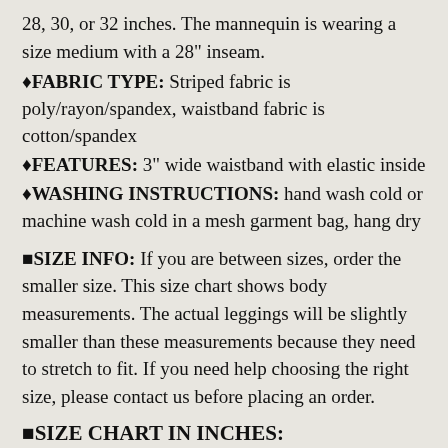28, 30, or 32 inches. The mannequin is wearing a size medium with a 28" inseam.
FABRIC TYPE: Striped fabric is poly/rayon/spandex, waistband fabric is cotton/spandex
FEATURES: 3" wide waistband with elastic inside
WASHING INSTRUCTIONS: hand wash cold or machine wash cold in a mesh garment bag, hang dry
SIZE INFO: If you are between sizes, order the smaller size. This size chart shows body measurements. The actual leggings will be slightly smaller than these measurements because they need to stretch to fit. If you need help choosing the right size, please contact us before placing an order.
SIZE CHART IN INCHES:
X Small: 24-25 Waist, 32-33 Hip...